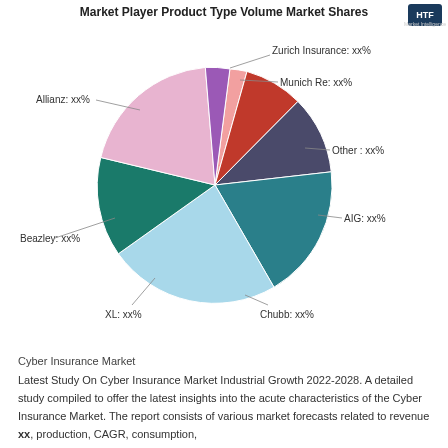[Figure (pie-chart): Market Player Product Type Volume Market Shares]
Cyber Insurance Market
Latest Study On Cyber Insurance Market Industrial Growth 2022-2028. A detailed study compiled to offer the latest insights into the acute characteristics of the Cyber Insurance Market. The report consists of various market forecasts related to revenue xx, production, CAGR, consumption,